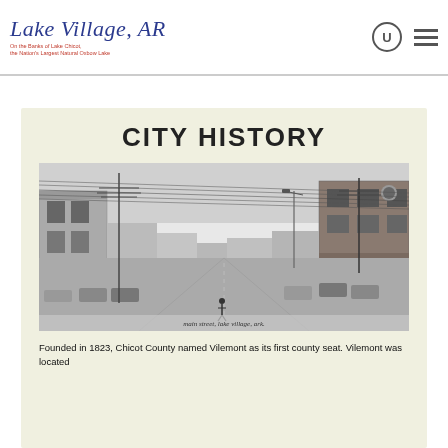Lake Village, AR — On the Banks of Lake Chicot, the Nation's Largest Natural Oxbow Lake
CITY HISTORY
[Figure (photo): Black and white historical photograph of Main Street, Lake Village, Arkansas, showing vintage cars parked along a downtown street with utility poles and wires overhead and commercial buildings on both sides.]
Founded in 1823, Chicot County named Vilemont as its first county seat. Vilemont was located